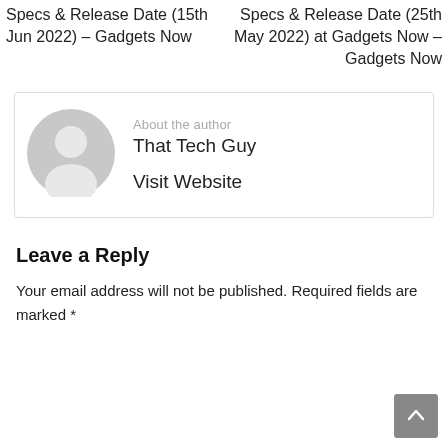Specs & Release Date (15th Jun 2022) – Gadgets Now
Specs & Release Date (25th May 2022) at Gadgets Now – Gadgets Now
[Figure (illustration): Gray circular avatar/profile placeholder icon showing a generic person silhouette]
About the author
That Tech Guy
Visit Website
Leave a Reply
Your email address will not be published. Required fields are marked *